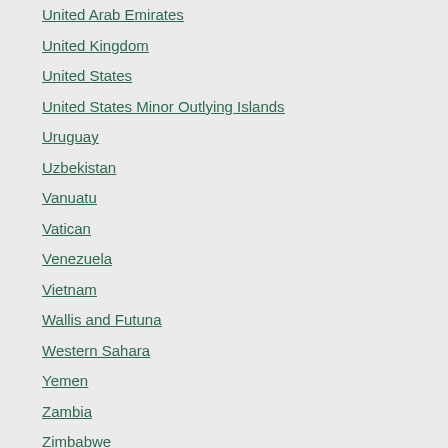United Arab Emirates
United Kingdom
United States
United States Minor Outlying Islands
Uruguay
Uzbekistan
Vanuatu
Vatican
Venezuela
Vietnam
Wallis and Futuna
Western Sahara
Yemen
Zambia
Zimbabwe
Slovakia